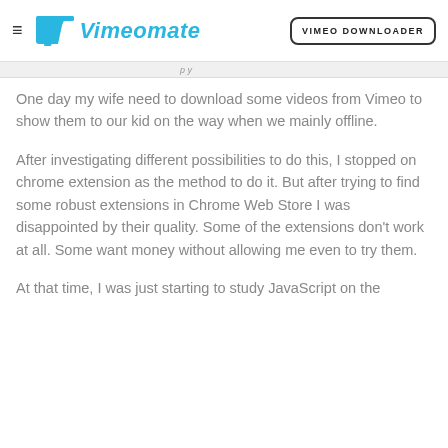≡ Vimeomate VIMEO DOWNLOADER
One day my wife need to download some videos from Vimeo to show them to our kid on the way when we mainly offline.
After investigating different possibilities to do this, I stopped on chrome extension as the method to do it. But after trying to find some robust extensions in Chrome Web Store I was disappointed by their quality. Some of the extensions don't work at all. Some want money without allowing me even to try them.
At that time, I was just starting to study JavaScript on the